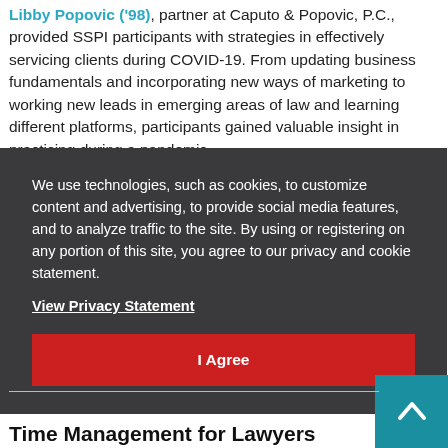Libby Popovic ('98), partner at Caputo & Popovic, P.C., provided SSPI participants with strategies in effectively servicing clients during COVID-19. From updating business fundamentals and incorporating new ways of marketing to working new leads in emerging areas of law and learning different platforms, participants gained valuable insight in practicing during a pandemic.
We use technologies, such as cookies, to customize content and advertising, to provide social media features, and to analyze traffic to the site. By using or registering on any portion of this site, you agree to our privacy and cookie statement. View Privacy Statement I Agree
Time Management for Lawyers